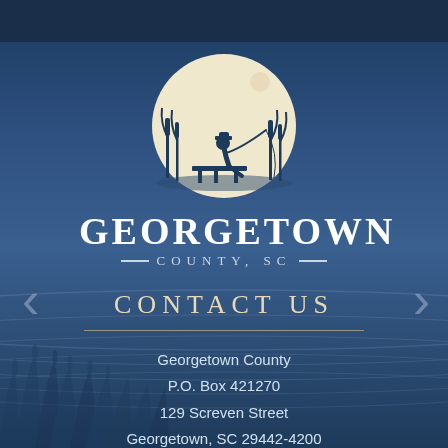[Figure (logo): Georgetown County, SC logo: silhouette of a person fishing on a dock with cattails, set against a cream/beige half-moon circle, with 'GEORGETOWN' in bold white letters and 'COUNTY, SC' in smaller spaced letters below with decorative double lines on each side.]
CONTACT US
Georgetown County
P.O. Box 421270
129 Screven Street
Georgetown, SC 29442-4200